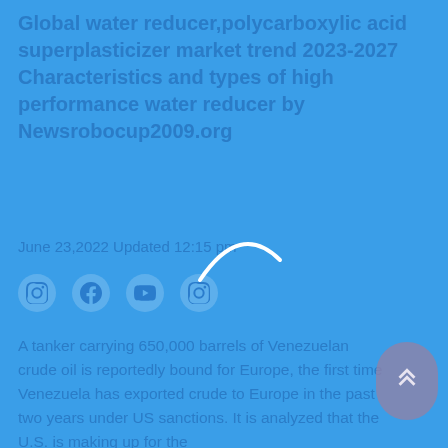Global water reducer,polycarboxylic acid superplasticizer market trend 2023-2027 Characteristics and types of high performance water reducer by Newsrobocup2009.org
June 23,2022 Updated 12:15 pm
[Figure (other): Social media icons: Instagram, Facebook, YouTube, Instagram in circular buttons on blue background]
[Figure (other): Loading spinner arc (curved white line, partial circle)]
A tanker carrying 650,000 barrels of Venezuelan crude oil is reportedly bound for Europe, the first time Venezuela has exported crude to Europe in the past two years under US sanctions. It is analyzed that the U.S. is making up for the
[Figure (other): Scroll-to-top button: rounded rectangle with double chevron up arrow, muted purple/mauve color, bottom right corner]